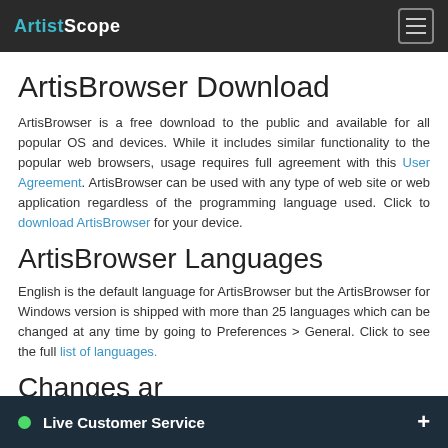ArtistScope
ArtisBrowser Download
ArtisBrowser is a free download to the public and available for all popular OS and devices. While it includes similar functionality to the popular web browsers, usage requires full agreement with this User Agreement. ArtisBrowser can be used with any type of web site or web application regardless of the programming language used. Click to download ArtisBrowser for your device.
ArtisBrowser Languages
English is the default language for ArtisBrowser but the ArtisBrowser for Windows version is shipped with more than 25 languages which can be changed at any time by going to Preferences > General. Click to see the full list of languages.
Changes ar
Live Customer Service